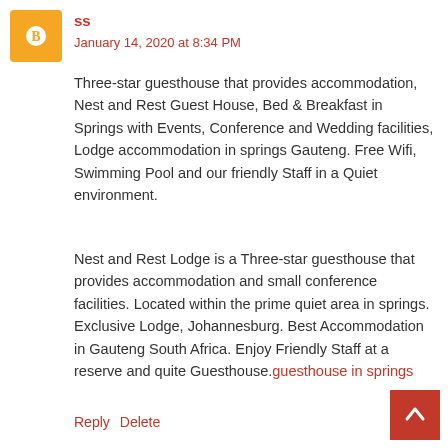[Figure (illustration): Orange rounded square avatar with a white blogger 'B' icon]
ss
January 14, 2020 at 8:34 PM
Three-star guesthouse that provides accommodation, Nest and Rest Guest House, Bed & Breakfast in Springs with Events, Conference and Wedding facilities, Lodge accommodation in springs Gauteng. Free Wifi, Swimming Pool and our friendly Staff in a Quiet environment.
Nest and Rest Lodge is a Three-star guesthouse that provides accommodation and small conference facilities. Located within the prime quiet area in springs. Exclusive Lodge, Johannesburg. Best Accommodation in Gauteng South Africa. Enjoy Friendly Staff at a reserve and quite Guesthouse.guesthouse in springs
Reply   Delete